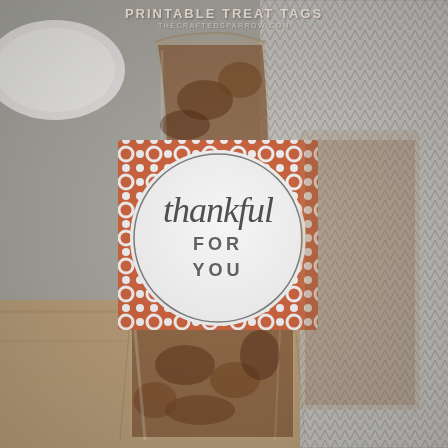PRINTABLE TREAT TAGS
THECRAFTEDSPARROW.COM
[Figure (photo): A clear cellophane treat bag filled with baked goods, wrapped with a decorative paper band featuring an orange/terracotta quatrefoil pattern. In the center of the band is a white circle with the script text 'Thankful FOR YOU' in gray. The bag sits on a gray and white chevron/herringbone fabric background. A white plate is partially visible in the top left corner.]